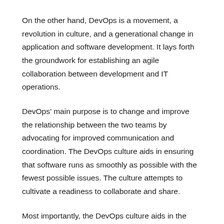On the other hand, DevOps is a movement, a revolution in culture, and a generational change in application and software development. It lays forth the groundwork for establishing an agile collaboration between development and IT operations.
DevOps’ main purpose is to change and improve the relationship between the two teams by advocating for improved communication and coordination. The DevOps culture aids in ensuring that software runs as smoothly as possible with the fewest possible issues. The culture attempts to cultivate a readiness to collaborate and share.
Most importantly, the DevOps culture aids in the creation of a more efficient and consistent workflow between development and IT operations.